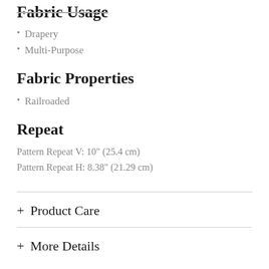Fabric Usage
Drapery
Multi-Purpose
Fabric Properties
Railroaded
Repeat
Pattern Repeat V: 10" (25.4 cm)
Pattern Repeat H: 8.38" (21.29 cm)
+ Product Care
+ More Details